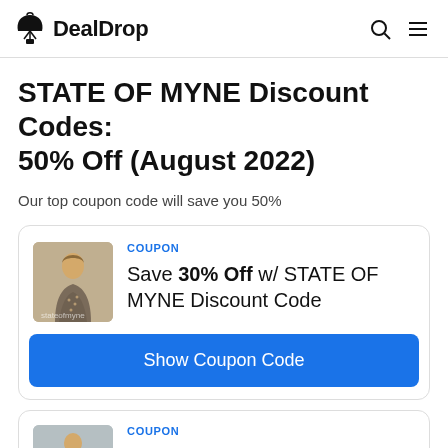DealDrop
STATE OF MYNE Discount Codes: 50% Off (August 2022)
Our top coupon code will save you 50%
COUPON
Save 30% Off w/ STATE OF MYNE Discount Code
Show Coupon Code
COUPON